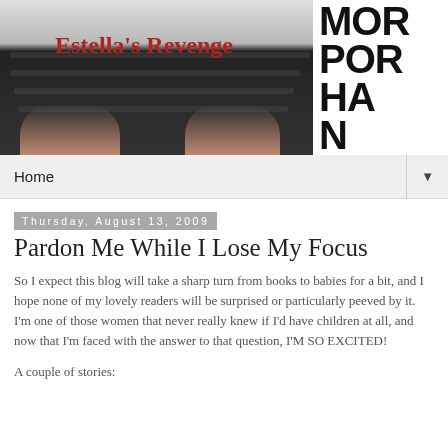[Figure (photo): Blog header image showing hands typing on a black keyboard, with 'Estella's Revenge' blog title in red serif font overlaid on the left, and a black-and-white typographic pattern on the right side.]
Home ▼
Thursday, August 13, 2009
Pardon Me While I Lose My Focus
So I expect this blog will take a sharp turn from books to babies for a bit, and I hope none of my lovely readers will be surprised or particularly peeved by it. I'm one of those women that never really knew if I'd have children at all, and now that I'm faced with the answer to that question, I'M SO EXCITED!
A couple of stories: